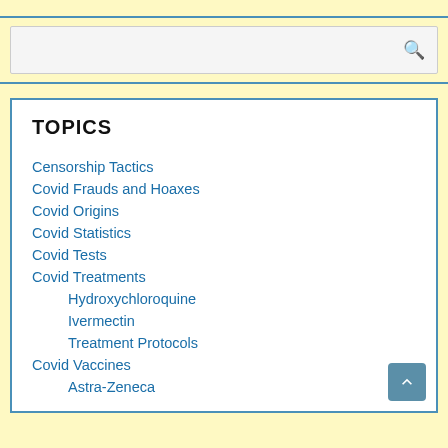[Figure (screenshot): Search bar with magnifying glass icon on yellow background]
TOPICS
Censorship Tactics
Covid Frauds and Hoaxes
Covid Origins
Covid Statistics
Covid Tests
Covid Treatments
Hydroxychloroquine
Ivermectin
Treatment Protocols
Covid Vaccines
Astra-Zeneca